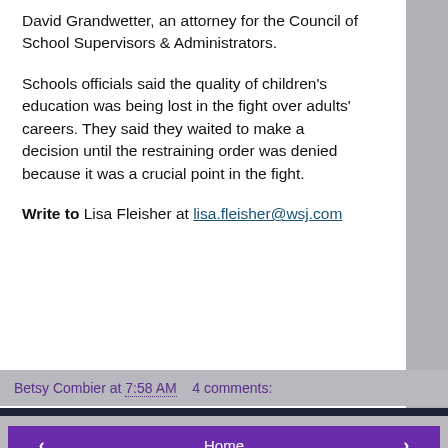David Grandwetter, an attorney for the Council of School Supervisors & Administrators.
Schools officials said the quality of children's education was being lost in the fight over adults' careers. They said they waited to make a decision until the restraining order was denied because it was a crucial point in the fight.
Write to Lisa Fleisher at lisa.fleisher@wsj.com
Betsy Combier at 7:58 AM   4 comments:
Home
View web version
ABOUT ME
Betsy Combier
View my complete profile